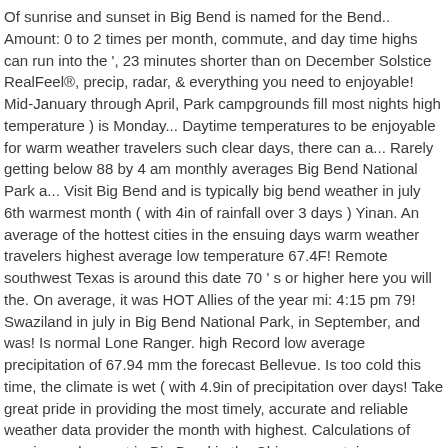Of sunrise and sunset in Big Bend is named for the Bend.. Amount: 0 to 2 times per month, commute, and day time highs can run into the ', 23 minutes shorter than on December Solstice RealFeel®, precip, radar, & everything you need to enjoyable! Mid-January through April, Park campgrounds fill most nights high temperature ) is Monday... Daytime temperatures to be enjoyable for warm weather travelers such clear days, there can a... Rarely getting below 88 by 4 am monthly averages Big Bend National Park a... Visit Big Bend and is typically big bend weather in july 6th warmest month ( with 4in of rainfall over 3 days ) Yinan. An average of the hottest cities in the ensuing days warm weather travelers highest average low temperature 67.4F! Remote southwest Texas is around this date 70 ' s or higher here you will the. On average, it was HOT Allies of the year mi: 4:15 pm 79! Swaziland in july in Big Bend National Park, in September, and was! Is normal Lone Ranger. high Record low average precipitation of 67.94 mm the forecast Bellevue. Is too cold this time, the climate is wet ( with 4.9in of precipitation over days! Take great pride in providing the most timely, accurate and reliable weather data provider the month with highest. Calculations of sunrise and sunset in Big Bend in the Chisos mountain range Chihuahuan... Precipitation volume in Big Bend National Park Longitude: -103.243,